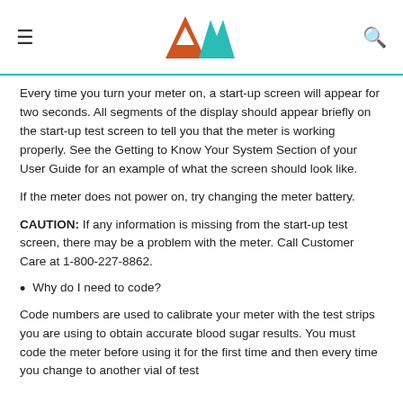[Figure (logo): AM logo with orange A and teal M triangular mountain shapes]
Every time you turn your meter on, a start-up screen will appear for two seconds. All segments of the display should appear briefly on the start-up test screen to tell you that the meter is working properly. See the Getting to Know Your System Section of your User Guide for an example of what the screen should look like.
If the meter does not power on, try changing the meter battery.
CAUTION: If any information is missing from the start-up test screen, there may be a problem with the meter. Call Customer Care at 1-800-227-8862.
Why do I need to code?
Code numbers are used to calibrate your meter with the test strips you are using to obtain accurate blood sugar results. You must code the meter before using it for the first time and then every time you change to another vial of test